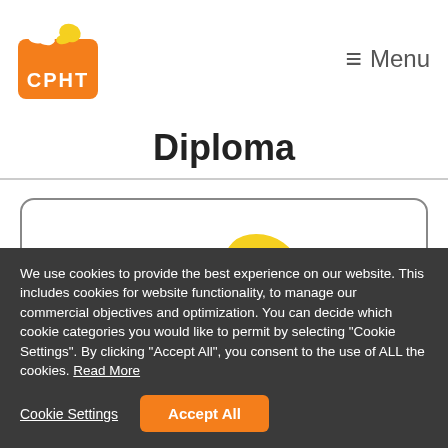[Figure (logo): CPHT logo with orange background, white text CPHT, and two butterfly icons above]
≡ Menu
Diploma
[Figure (logo): Large CPHT logo inside a rounded rectangle card with orange background and butterfly graphics]
We use cookies to provide the best experience on our website. This includes cookies for website functionality, to manage our commercial objectives and optimization. You can decide which cookie categories you would like to permit by selecting "Cookie Settings". By clicking "Accept All", you consent to the use of ALL the cookies. Read More
Cookie Settings
Accept All